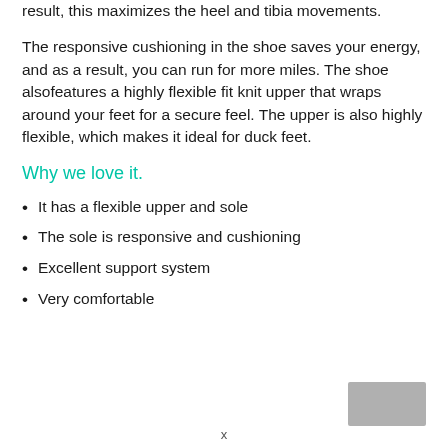result, this maximizes the heel and tibia movements.
The responsive cushioning in the shoe saves your energy, and as a result, you can run for more miles. The shoe alsofeatures a highly flexible fit knit upper that wraps around your feet for a secure feel. The upper is also highly flexible, which makes it ideal for duck feet.
Why we love it.
It has a flexible upper and sole
The sole is responsive and cushioning
Excellent support system
Very comfortable